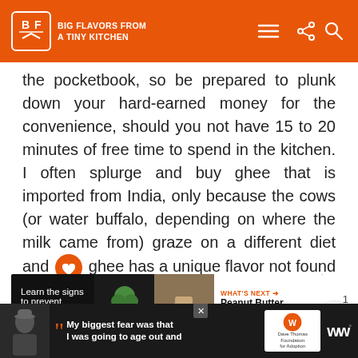BIG FLAVORS FROM A TINY KITCHEN
the pocketbook, so be prepared to plunk down your hard-earned money for the convenience, should you not have 15 to 20 minutes of free time to spend in the kitchen. I often splurge and buy ghee that is imported from India, only because the cows (or water buffalo, depending on where the milk came from) graze on a different diet and ghee has a unique flavor not found in Americ dairy land.
[Figure (screenshot): Advertisement bar: Learn the signs to prevent school shootings. With WHAT'S NEXT arrow and Peanut Butter Cookies link.]
[Figure (screenshot): Bottom advertisement: My biggest fear was that I was going to age out and - Dave Thomas Foundation for Adoption]